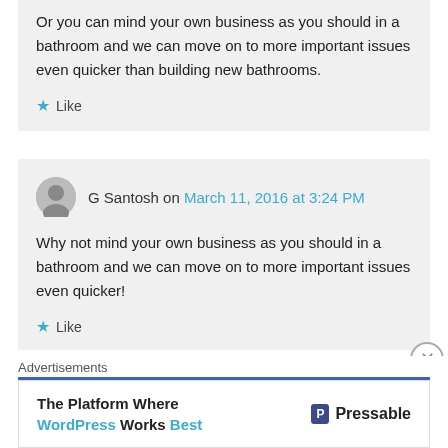Or you can mind your own business as you should in a bathroom and we can move on to more important issues even quicker than building new bathrooms.
★ Like
G Santosh on March 11, 2016 at 3:24 PM
Why not mind your own business as you should in a bathroom and we can move on to more important issues even quicker!
★ Like
Advertisements
[Figure (other): Advertisement banner: The Platform Where WordPress Works Best — Pressable]